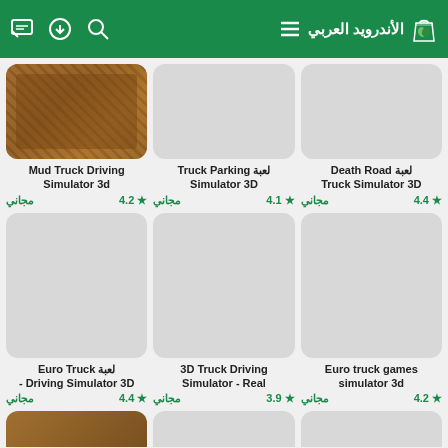الأندرويد العربي - header with icons
[Figure (screenshot): App thumbnail for Mud Truck Driving Simulator 3d - brown mud texture]
Mud Truck Driving Simulator 3d
مجاني  4.2 ★
[Figure (screenshot): App thumbnail for لعبة Truck Parking Simulator 3D - gray placeholder]
لعبة Truck Parking Simulator 3D
مجاني  4.1 ★
[Figure (screenshot): App thumbnail for لعبة Death Road Truck Simulator 3D - gray placeholder]
لعبة Death Road Truck Simulator 3D
مجاني  4.4 ★
[Figure (screenshot): App thumbnail for لعبة Euro Truck Driving Simulator 3D - gray placeholder]
لعبة Euro Truck Driving Simulator 3D -
مجاني  4.4 ★
[Figure (screenshot): App thumbnail for 3D Truck Driving Simulator - Real - gray placeholder]
3D Truck Driving Simulator - Real
مجاني  3.9 ★
[Figure (screenshot): App thumbnail for Euro truck games simulator 3d - gray placeholder]
Euro truck games simulator 3d
مجاني  4.2 ★